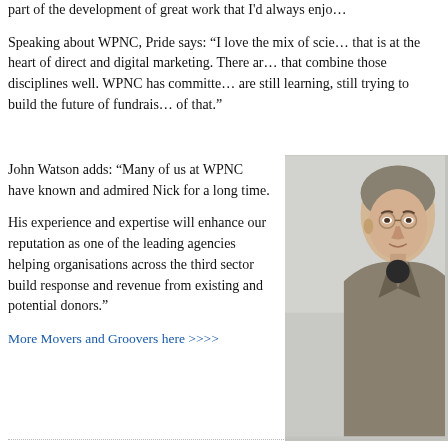part of the development of great work that I'd always enjo…
Speaking about WPNC, Pride says: “I love the mix of scie… that is at the heart of direct and digital marketing. There ar… that combine those disciplines well. WPNC has committe… are still learning, still trying to build the future of fundrais… of that.”
John Watson adds: “Many of us at WPNC have known and admired Nick for a long time.
His experience and expertise will enhance our reputation as one of the leading agencies helping organisations across the third sector build response and revenue from existing and potential donors.”
[Figure (photo): Photograph of a man in a grey jacket and dark shirt, standing in front of a light grey background.]
More Movers and Groovers here >>>>